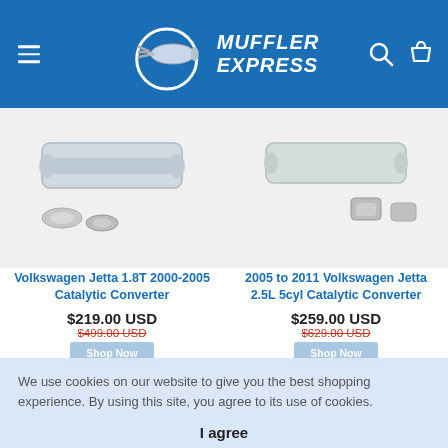[Figure (logo): Muffler Express logo with muffler icon and brand name on blue header background]
[Figure (photo): Volkswagen Jetta catalytic converter parts - left product image]
[Figure (photo): Volkswagen Jetta 2.5L catalytic converter parts - right product image]
Volkswagen Jetta 1.8T 2000-2005 Catalytic Converter
$219.00 USD
$499.00 USD
2005 to 2011 Volkswagen Jetta 2.5L 5cyl Catalytic Converter
$259.00 USD
$629.00 USD
We use cookies on our website to give you the best shopping experience. By using this site, you agree to its use of cookies.
I agree